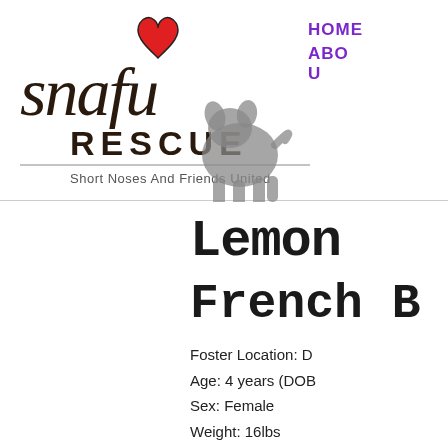[Figure (logo): SNAFU Rescue logo with script text 'snafu', block text 'RESCUE', tagline 'Short Noses And Friends United', a red heart, and a grey dog silhouette]
HOME    ABO U
Lemon
French B
Foster Location: D
Age: 4 years (DOB
Sex: Female
Weight: 16lbs
Kids: YES, dog sa
Cats: Unknown